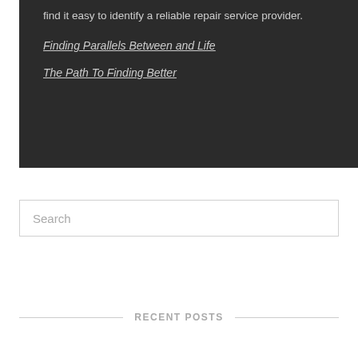find it easy to identify a reliable repair service provider.
Finding Parallels Between and Life
The Path To Finding Better
Search
RECENT POSTS